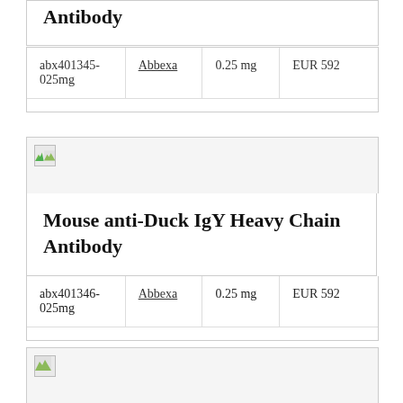Antibody
| abx401345-025mg | Abbexa | 0.25 mg | EUR 592 |
[Figure (photo): Product image placeholder for Mouse anti-Duck IgY Heavy Chain Antibody]
Mouse anti-Duck IgY Heavy Chain Antibody
| abx401346-025mg | Abbexa | 0.25 mg | EUR 592 |
[Figure (photo): Product image placeholder for next antibody product]